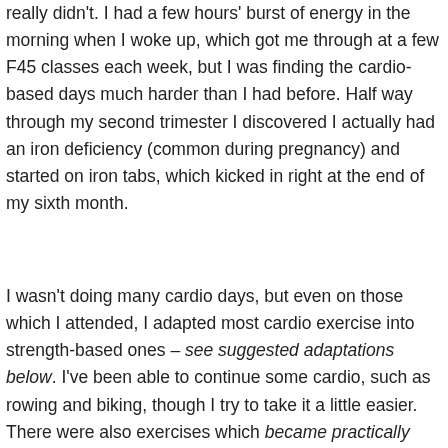really didn't. I had a few hours' burst of energy in the morning when I woke up, which got me through at a few F45 classes each week, but I was finding the cardio-based days much harder than I had before. Half way through my second trimester I discovered I actually had an iron deficiency (common during pregnancy) and started on iron tabs, which kicked in right at the end of my sixth month.
I wasn't doing many cardio days, but even on those which I attended, I adapted most cardio exercise into strength-based ones – see suggested adaptations below. I've been able to continue some cardio, such as rowing and biking, though I try to take it a little easier. There were also exercises which became practically impossible during my second trimester, such